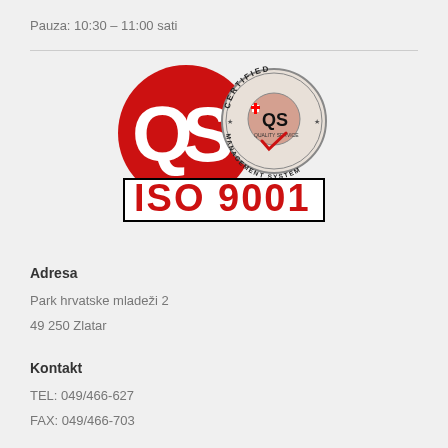Pauza: 10:30 – 11:00 sati
[Figure (logo): QS ISO 9001 certified quality management system logo with red QS letters and circular certification seal]
Adresa
Park hrvatske mladeži 2
49 250 Zlatar
Kontakt
TEL: 049/466-627
FAX: 049/466-703